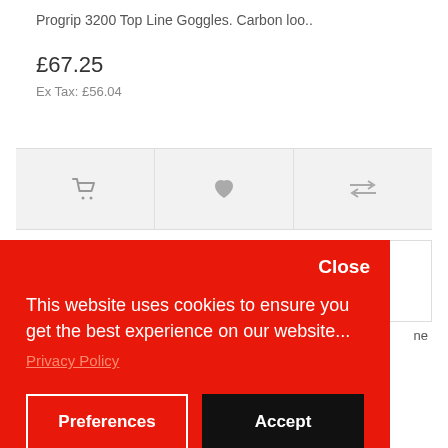Progrip 3200 Top Line Goggles. Carbon loo..
£67.25
Ex Tax: £56.04
[Figure (screenshot): Action bar with cart icon, heart/wishlist icon, and compare arrows icon on grey background]
[Figure (photo): Partial orange/black power tool or equipment visible at top of second product card]
Close
This website uses cookies to ensure you get the best experience on our website...
Privacy Policy
Preferences
Accept